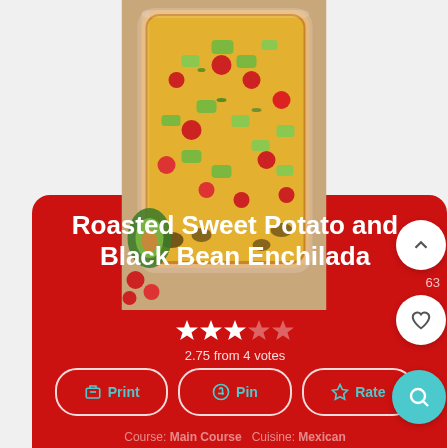[Figure (photo): Aerial view of a baking dish with enchiladas topped with melted cheese, cherry tomatoes, and diced avocado on a wooden surface]
Roasted Sweet Potato and Black Bean Enchilada
2.75 from 4 votes
Print  Pin  Rate
Course: Main Course   Cuisine: Mexican  Keyword: black beans, Enchiladas, gluten-free, sweet potatoes, vegetarian